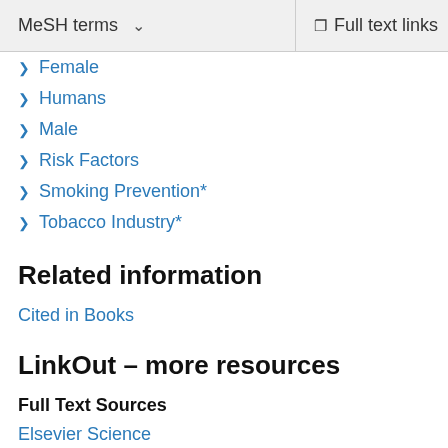MeSH terms   Full text links
Female
Humans
Male
Risk Factors
Smoking Prevention*
Tobacco Industry*
Related information
Cited in Books
LinkOut – more resources
Full Text Sources
Elsevier Science
Medical
MedlinePlus Health Information